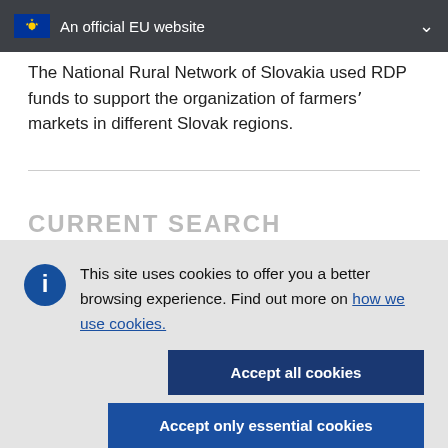An official EU website
The National Rural Network of Slovakia used RDP funds to support the organization of farmers' markets in different Slovak regions.
CURRENT SEARCH
This site uses cookies to offer you a better browsing experience. Find out more on how we use cookies.